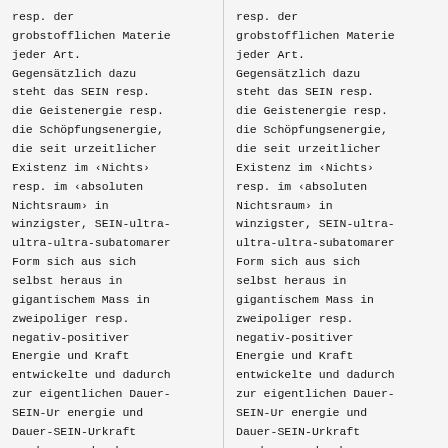resp. der grobstofflichen Materie jeder Art. Gegensätzlich dazu steht das SEIN resp. die Geistenergie resp. die Schöpfungsenergie, die seit urzeitlicher Existenz im ‹Nichts› resp. im ‹absoluten Nichtsraum› in winzigster, SEIN-ultra-ultra-ultra-subatomarer Form sich aus sich selbst heraus in gigantischem Mass in zweipoliger resp. negativ-positiver Energie und Kraft entwickelte und dadurch zur eigentlichen Dauer-SEIN-Ur energie und Dauer-SEIN-Urkraft wurde, aus der heraus sich in einmaliger
resp. der grobstofflichen Materie jeder Art. Gegensätzlich dazu steht das SEIN resp. die Geistenergie resp. die Schöpfungsenergie, die seit urzeitlicher Existenz im ‹Nichts› resp. im ‹absoluten Nichtsraum› in winzigster, SEIN-ultra-ultra-ultra-subatomarer Form sich aus sich selbst heraus in gigantischem Mass in zweipoliger resp. negativ-positiver Energie und Kraft entwickelte und dadurch zur eigentlichen Dauer-SEIN-Ur energie und Dauer-SEIN-Urkraft wurde, aus der heraus sich in einmaliger